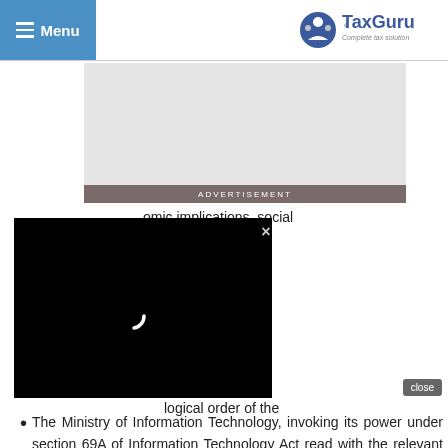Menu | TaxGuru — Complete tax solution
[Figure (other): Advertisement placeholder banner]
...mic implications, social mindful shocks to the ch made them a world
[Figure (other): Video player overlay with loading spinner and close button]
logical order of the
The Ministry of Information Technology, invoking its power under section 69A of Information Technology Act read with the relevant provisions of the Information